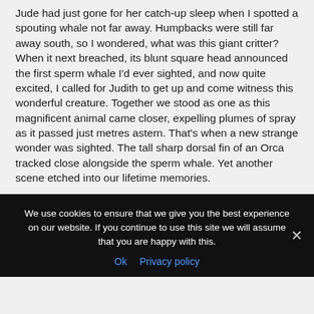Jude had just gone for her catch-up sleep when I spotted a spouting whale not far away. Humpbacks were still far away south, so I wondered, what was this giant critter? When it next breached, its blunt square head announced the first sperm whale I'd ever sighted, and now quite excited, I called for Judith to get up and come witness this wonderful creature. Together we stood as one as this magnificent animal came closer, expelling plumes of spray as it passed just metres astern. That's when a new strange wonder was sighted. The tall sharp dorsal fin of an Orca tracked close alongside the sperm whale. Yet another scene etched into our lifetime memories.
We use cookies to ensure that we give you the best experience on our website. If you continue to use this site we will assume that you are happy with this.
Ok  Privacy policy